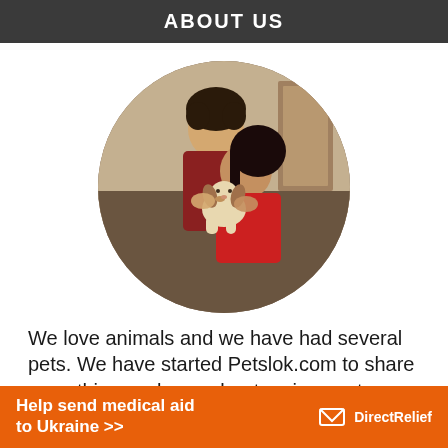ABOUT US
[Figure (photo): A couple kissing a small beagle puppy, shown in a circular cropped photo]
We love animals and we have had several pets. We have started Petslok.com to share everything we know about various pet animals
[Figure (infographic): Orange advertisement banner: Help send medical aid to Ukraine >> DirectRelief logo]